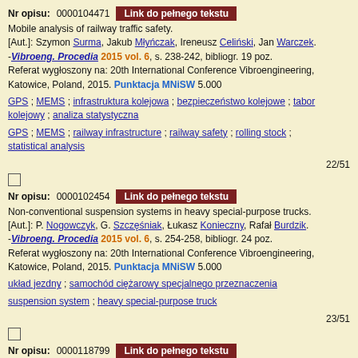Nr opisu: 0000104471   Link do pełnego tekstu
Mobile analysis of railway traffic safety.
[Aut.]: Szymon Surma, Jakub Młyńczak, Ireneusz Celiński, Jan Warczek.
-Vibroeng. Procedia 2015 vol. 6, s. 238-242, bibliogr. 19 poz.
Referat wygłoszony na: 20th International Conference Vibroengineering, Katowice, Poland, 2015. Punktacja MNiSW 5.000
GPS ; MEMS ; infrastruktura kolejowa ; bezpieczeństwo kolejowe ; tabor kolejowy ; analiza statystyczna
GPS ; MEMS ; railway infrastructure ; railway safety ; rolling stock ; statistical analysis
22/51
Nr opisu: 0000102454   Link do pełnego tekstu
Non-conventional suspension systems in heavy special-purpose trucks.
[Aut.]: P. Nogowczyk, G. Szczęśniak, Łukasz Konieczny, Rafał Burdzik.
-Vibroeng. Procedia 2015 vol. 6, s. 254-258, bibliogr. 24 poz.
Referat wygłoszony na: 20th International Conference Vibroengineering, Katowice, Poland, 2015. Punktacja MNiSW 5.000
układ jezdny ; samochód ciężarowy specjalnego przeznaczenia
suspension system ; heavy special-purpose truck
23/51
Nr opisu: 0000118799   Link do pełnego tekstu
Passenger safety and information module in intelligent integrated traffic